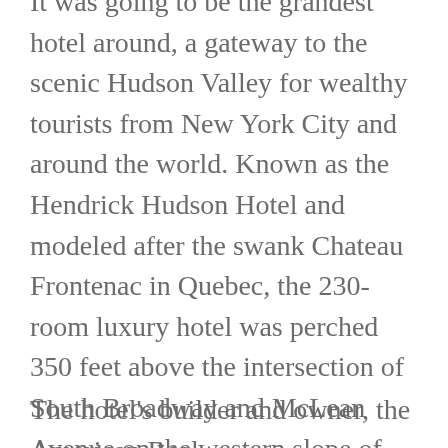It was going to be the grandest hotel around, a gateway to the scenic Hudson Valley for wealthy tourists from New York City and around the world. Known as the Hendrick Hudson Hotel and modeled after the swank Chateau Frontenac in Quebec, the 230-room luxury hotel was perched 350 feet above the intersection of South Broadway and McLean Avenue on the western slope of Park Hill in South Yonkers. It offered spectacular views down the Hudson River to the New York Harbor and Lady Liberty, and upriver to the commanding Hudson Highlands near West Point. You could even see across Westchester to the waters of Long Island Sound.
The hotel's builder and owner, the American Real